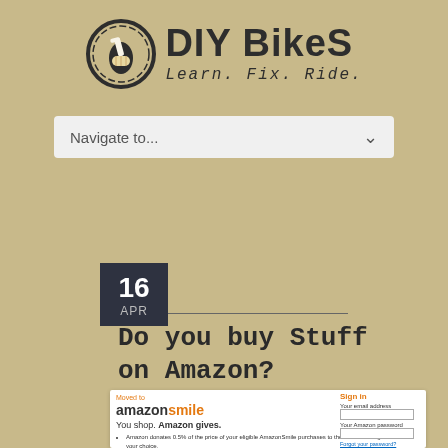[Figure (logo): DIY Bikes logo with a hand holding a wrench inside a gear/chainring circle, and text 'DIY BikeS' with subtitle 'Learn. Fix. Ride.']
Navigate to...
16
APR
Do you buy Stuff on Amazon?
[Figure (screenshot): Amazon Smile screenshot showing 'You shop. Amazon gives.' with sign-in form and bullet points about Amazon donating 0.5% of eligible purchases to charitable organization of your choice, and AmazonSmile being the same Amazon you know with same products, same prices, same service.]